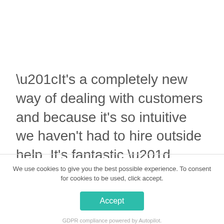“It's a completely new way of dealing with customers and because it’s so intuitive we haven't had to hire outside help. It’s fantastic.”
OSCAR DE VRIES, FOUNDER & CEO AT OSCAR RAZOR
We use cookies to give you the best possible experience. To consent for cookies to be used, click accept.
Accept
GDPR compliance powered by Autopilot.